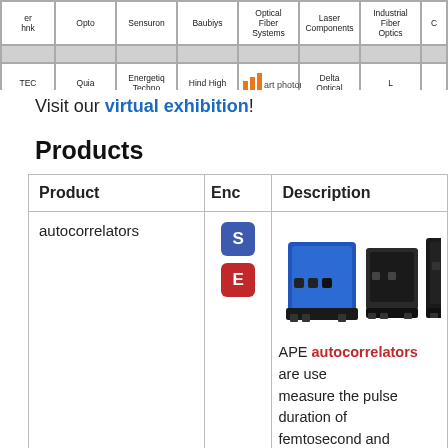[Figure (screenshot): Exhibition hall map showing booths: Opto, Sensuron, Baubiys, Optical Fiber Systems, Laser Components, Industrial Fiber Optics, TEC, Quia, Energetiq Techno, Hind High, art photonics, Delta Optical and others]
Visit our virtual exhibition!
Products
| Product | Enc | Description |
| --- | --- | --- |
| autocorrelators | S E | APE autocorrelators are used to measure the pulse duration of femtosecond and picosecond laser systems. The technology is based on either second harmonic... |